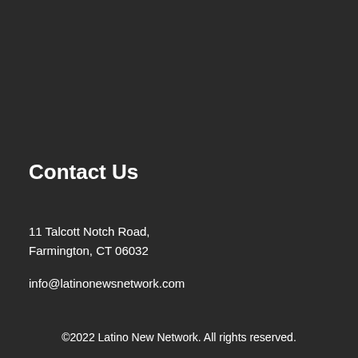Contact Us
11 Talcott Notch Road,
Farmington, CT 06032
info@latinonewsnetwork.com
©2022 Latino New Network. All rights reserved.